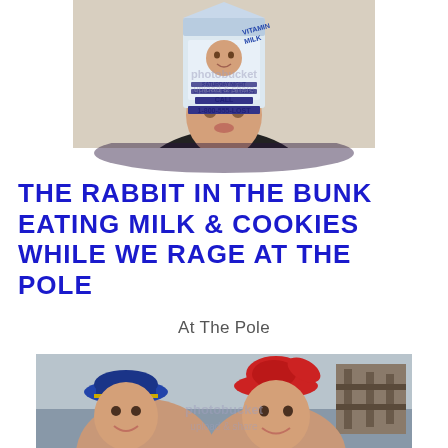[Figure (photo): Person wearing a milk carton on their head as a hat, with text on the carton reading 'SATURDAY NIGHT', 'LAST SEEN: BOB'S TAVERN', 'CALL 1-800-555-LOST'. Black and white photo with Photobucket watermark overlay.]
THE RABBIT IN THE BUNK EATING MILK & COOKIES WHILE WE RAGE AT THE POLE
At The Pole
[Figure (photo): Two men posing outdoors near water and a dock. One wears a navy captain's hat, the other wears a red knit hat. Photobucket watermark overlay visible.]